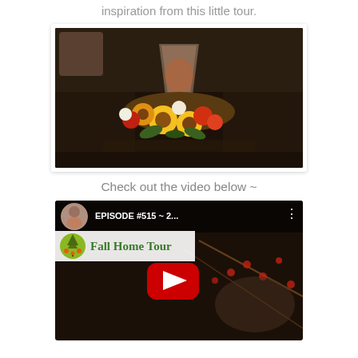inspiration from this little tour.
[Figure (photo): A fall floral centerpiece arrangement with sunflowers and autumn flowers surrounding a decorative glass lantern, on a dark coffee table with a leather couch in the background.]
Check out the video below ~
[Figure (screenshot): YouTube video thumbnail showing 'EPISODE #515 ~ 2...' and 'Fall Home Tour' title overlay with a YouTube play button in the center. Features a woman's avatar, a tree logo icon, and fall decorations in the background.]